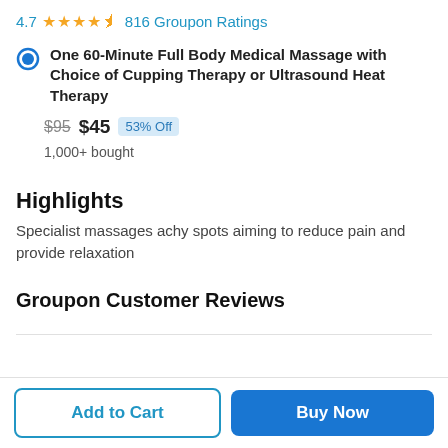4.7 ★★★★½ 816 Groupon Ratings
One 60-Minute Full Body Medical Massage with Choice of Cupping Therapy or Ultrasound Heat Therapy
$95  $45  53% Off
1,000+ bought
Highlights
Specialist massages achy spots aiming to reduce pain and provide relaxation
Groupon Customer Reviews
Add to Cart
Buy Now